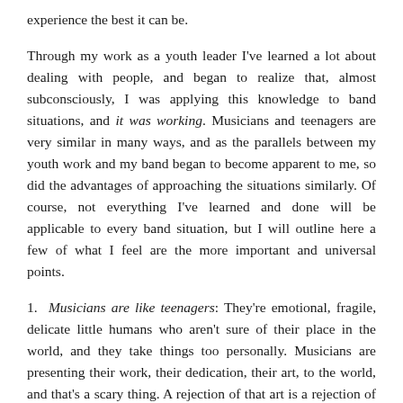experience the best it can be.
Through my work as a youth leader I've learned a lot about dealing with people, and began to realize that, almost subconsciously, I was applying this knowledge to band situations, and it was working. Musicians and teenagers are very similar in many ways, and as the parallels between my youth work and my band began to become apparent to me, so did the advantages of approaching the situations similarly. Of course, not everything I've learned and done will be applicable to every band situation, but I will outline here a few of what I feel are the more important and universal points.
1. Musicians are like teenagers: They're emotional, fragile, delicate little humans who aren't sure of their place in the world, and they take things too personally. Musicians are presenting their work, their dedication, their art, to the world, and that's a scary thing. A rejection of that art is a rejection of them as people. In the same way, teenagers are trying to figure out how to present themselves to the world so that they avoid